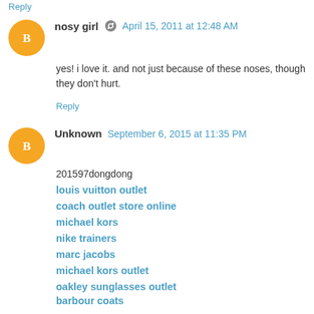Reply
nosy girl · April 15, 2011 at 12:48 AM
yes! i love it. and not just because of these noses, though they don't hurt.
Reply
Unknown  September 6, 2015 at 11:35 PM
201597dongdong
louis vuitton outlet
coach outlet store online
michael kors
nike trainers
marc jacobs
michael kors outlet
oakley sunglasses outlet
barbour coats
nhl jerseys
michael kors
hollister co